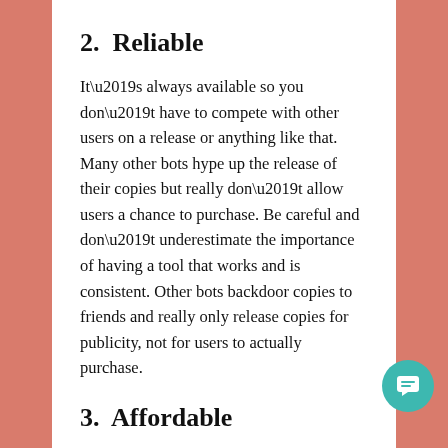2.  Reliable
It’s always available so you don’t have to compete with other users on a release or anything like that. Many other bots hype up the release of their copies but really don’t allow users a chance to purchase. Be careful and don’t underestimate the importance of having a tool that works and is consistent. Other bots backdoor copies to friends and really only release copies for publicity, not for users to actually purchase.
3.  Affordable
NSB is one of the most affordable bots on the market. For a couple hundred dollars, you can compete on shoe sites and actually